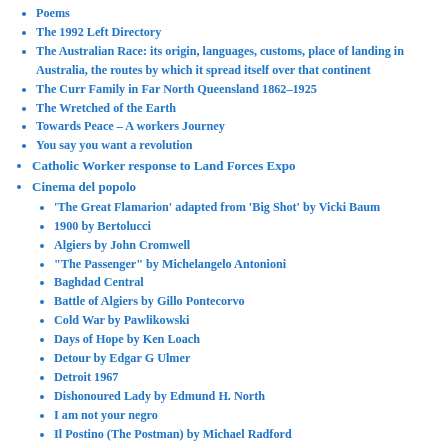Poems
The 1992 Left Directory
The Australian Race: its origin, languages, customs, place of landing in Australia, the routes by which it spread itself over that continent
The Curr Family in Far North Queensland 1862–1925
The Wretched of the Earth
Towards Peace – A workers Journey
You say you want a revolution
Catholic Worker response to Land Forces Expo
Cinema del popolo
'The Great Flamarion' adapted from 'Big Shot' by Vicki Baum
1900 by Bertolucci
Algiers by John Cromwell
"The Passenger" by Michelangelo Antonioni
Baghdad Central
Battle of Algiers by Gillo Pontecorvo
Cold War by Pawlikowski
Days of Hope by Ken Loach
Detour by Edgar G Ulmer
Detroit 1967
Dishonoured Lady by Edmund H. North
I am not your negro
Il Postino (The Postman) by Michael Radford
I am Pi...